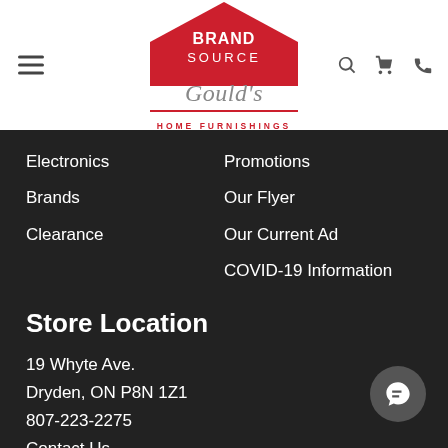[Figure (logo): BrandSource Gould's Home Furnishings logo with red house/roof shape, script text and navigation icons]
Electronics
Brands
Clearance
Promotions
Our Flyer
Our Current Ad
COVID-19 Information
Return & Store Policies
Store Location
19 Whyte Ave.
Dryden, ON P8N 1Z1
807-223-2275
Contact Us